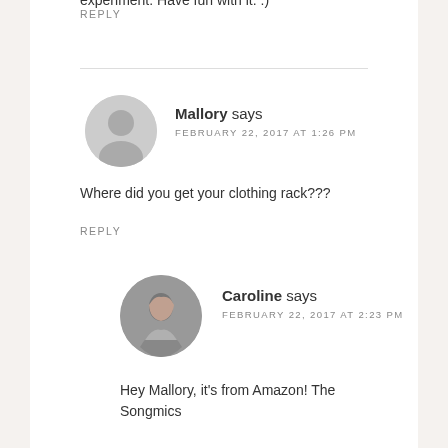experiment. Have fun with it. :)
REPLY
Mallory says
FEBRUARY 22, 2017 AT 1:26 PM
Where did you get your clothing rack???
REPLY
Caroline says
FEBRUARY 22, 2017 AT 2:23 PM
Hey Mallory, it's from Amazon! The Songmics